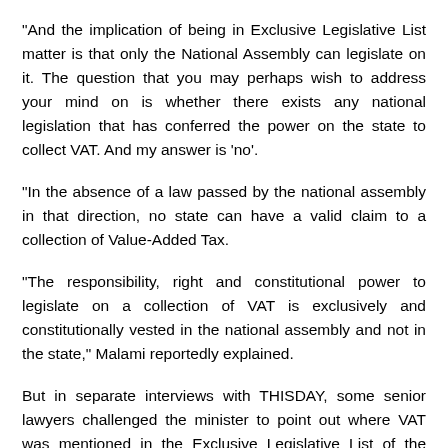“And the implication of being in Exclusive Legislative List matter is that only the National Assembly can legislate on it. The question that you may perhaps wish to address your mind on is whether there exists any national legislation that has conferred the power on the state to collect VAT. And my answer is ‘no’.
“In the absence of a law passed by the national assembly in that direction, no state can have a valid claim to a collection of Value-Added Tax.
“The responsibility, right and constitutional power to legislate on a collection of VAT is exclusively and constitutionally vested in the national assembly and not in the state,” Malami reportedly explained.
But in separate interviews with THISDAY, some senior lawyers challenged the minister to point out where VAT was mentioned in the Exclusive Legislative List of the 1999 Constitution of the